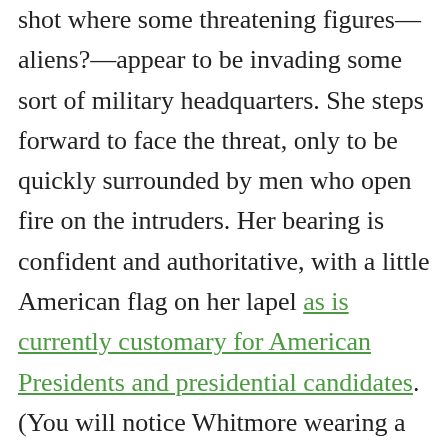shot where some threatening figures—aliens?—appear to be invading some sort of military headquarters. She steps forward to face the threat, only to be quickly surrounded by men who open fire on the intruders. Her bearing is confident and authoritative, with a little American flag on her lapel as is currently customary for American Presidents and presidential candidates. (You will notice Whitmore wearing a lapel pin as well, though he did not wear one in the first film.) A quick glance at the cast list confirms Ward is